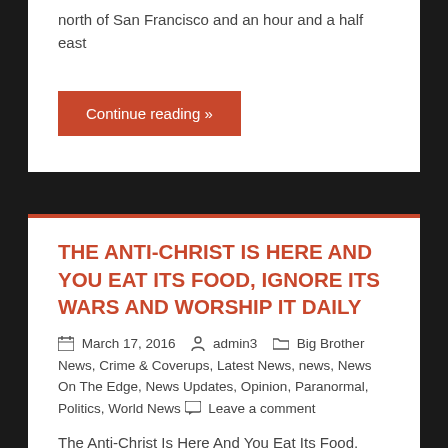north of San Francisco and an hour and a half east
Continue reading »
THE ANTI-CHRIST IS HERE AND YOU EAT ITS FOOD, IGNORE ITS WARS AND WORSHIP IT DAILY
March 17, 2016   admin3   Big Brother News, Crime & Coverups, Latest News, news, News On The Edge, News Updates, Opinion, Paranormal, Politics, World News   Leave a comment
The Anti-Christ Is Here And You Eat Its Food, Ignore Its Wars And Worship It Daily By Jack